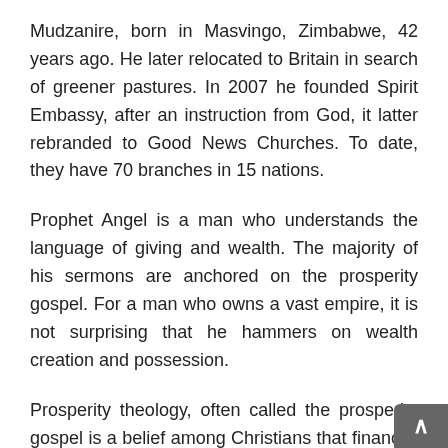Mudzanire, born in Masvingo, Zimbabwe, 42 years ago. He later relocated to Britain in search of greener pastures. In 2007 he founded Spirit Embassy, after an instruction from God, it latter rebranded to Good News Churches. To date, they have 70 branches in 15 nations.
Prophet Angel is a man who understands the language of giving and wealth. The majority of his sermons are anchored on the prosperity gospel. For a man who owns a vast empire, it is not surprising that he hammers on wealth creation and possession.
Prosperity theology, often called the prosperity gospel is a belief among Christians that financial blessing and physical wellbeing are always the will of God for them, adding that, faith, positive speech,